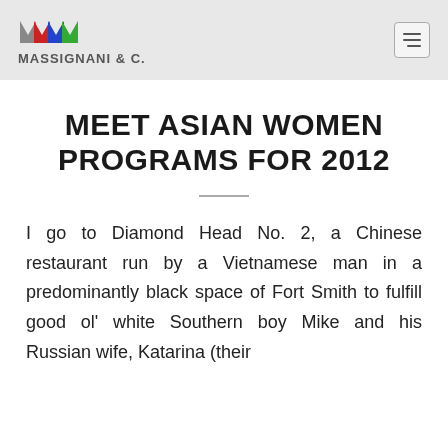MASSIGNANI & C.
MEET ASIAN WOMEN PROGRAMS FOR 2012
I go to Diamond Head No. 2, a Chinese restaurant run by a Vietnamese man in a predominantly black space of Fort Smith to fulfill good ol' white Southern boy Mike and his Russian wife, Katarina (their